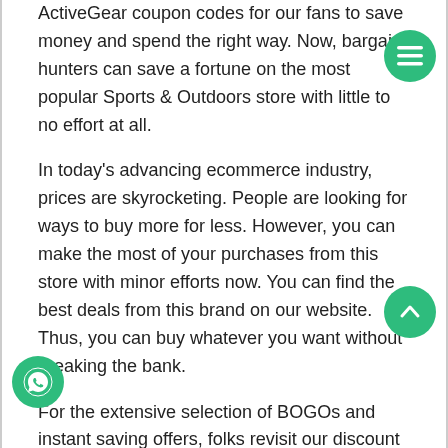ActiveGear coupon codes for our fans to save money and spend the right way. Now, bargain hunters can save a fortune on the most popular Sports & Outdoors store with little to no effort at all.
In today's advancing ecommerce industry, prices are skyrocketing. People are looking for ways to buy more for less. However, you can make the most of your purchases from this store with minor efforts now. You can find the best deals from this brand on our website. Thus, you can buy whatever you want without breaking the bank.
For the extensive selection of BOGOs and instant saving offers, folks revisit our discount platform every day. We have displayed the most exciting deals from this e-store all year long. We promise to help you save big with us.
Feel excited to shop from this vendor and enjoy prices you will not find elsewhere. Our major focus is to